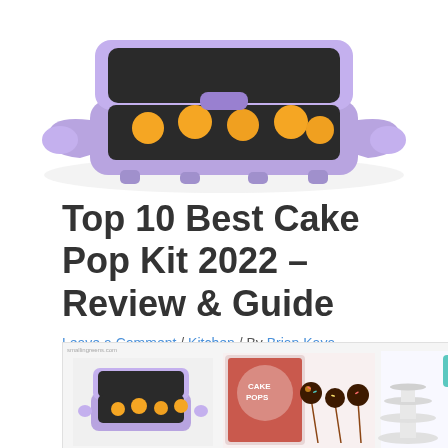[Figure (photo): A purple/lavender cake pop maker appliance with mini cake pops inside, shown from above and slightly angled, on a white background]
Top 10 Best Cake Pop Kit 2022 – Review & Guide
Leave a Comment / Kitchen / By Brian Kaya
[Figure (photo): Collage of three cake pop kit products: a purple cake pop maker, a decorated cake pop kit box with chocolate cake pops on sticks, and a white tiered stand display set with teal accessories]